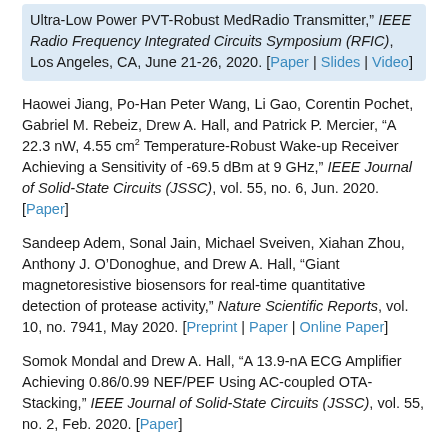Ultra-Low Power PVT-Robust MedRadio Transmitter," IEEE Radio Frequency Integrated Circuits Symposium (RFIC), Los Angeles, CA, June 21-26, 2020. [Paper | Slides | Video]
Haowei Jiang, Po-Han Peter Wang, Li Gao, Corentin Pochet, Gabriel M. Rebeiz, Drew A. Hall, and Patrick P. Mercier, "A 22.3 nW, 4.55 cm2 Temperature-Robust Wake-up Receiver Achieving a Sensitivity of -69.5 dBm at 9 GHz," IEEE Journal of Solid-State Circuits (JSSC), vol. 55, no. 6, Jun. 2020. [Paper]
Sandeep Adem, Sonal Jain, Michael Sveiven, Xiahan Zhou, Anthony J. O'Donoghue, and Drew A. Hall, "Giant magnetoresistive biosensors for real-time quantitative detection of protease activity," Nature Scientific Reports, vol. 10, no. 7941, May 2020. [Preprint | Paper | Online Paper]
Somok Mondal and Drew A. Hall, "A 13.9-nA ECG Amplifier Achieving 0.86/0.99 NEF/PEF Using AC-coupled OTA-Stacking," IEEE Journal of Solid-State Circuits (JSSC), vol. 55, no. 2, Feb. 2020. [Paper]
2019